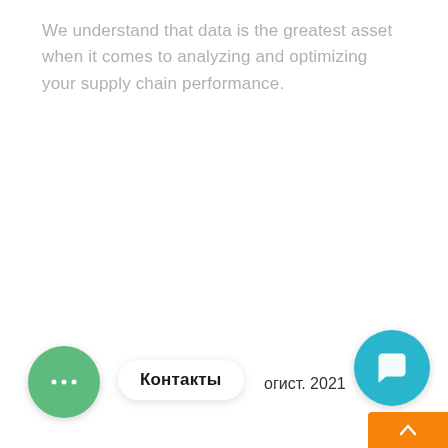We understand that data is the greatest asset when it comes to analyzing and optimizing your supply chain performance.
[Figure (illustration): Green circular chat bubble button with three dots icon]
Контакты
огист. 2021
[Figure (illustration): Teal circular chat bubble button with orange badge showing number 1]
[Figure (illustration): Orange bar at bottom right with upward chevron arrow]